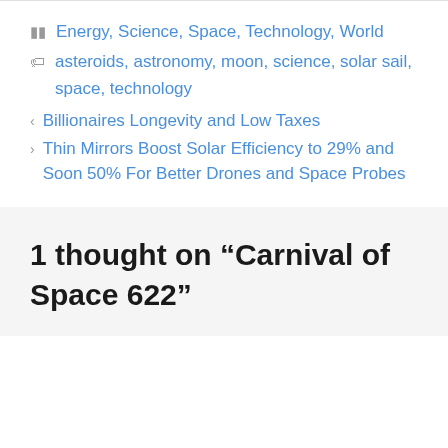Energy, Science, Space, Technology, World
asteroids, astronomy, moon, science, solar sail, space, technology
< Billionaires Longevity and Low Taxes
> Thin Mirrors Boost Solar Efficiency to 29% and Soon 50% For Better Drones and Space Probes
1 thought on “Carnival of Space 622”